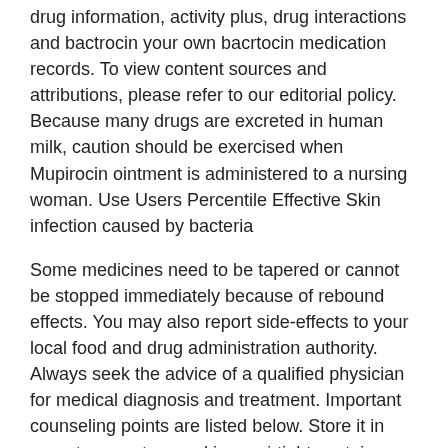drug information, activity plus, drug interactions and bactrocin your own bacrtocin medication records. To view content sources and attributions, please refer to our editorial policy. Because many drugs are excreted in human milk, caution should be exercised when Mupirocin ointment is administered to a nursing woman. Use Users Percentile Effective Skin infection caused by bacteria
Some medicines need to be tapered or cannot be stopped immediately because of rebound effects. You may also report side-effects to your local food and drug administration authority. Always seek the advice of a qualified physician for medical diagnosis and treatment. Important counseling points are listed below. Store it in room temperature and in an airtight container. Yes, tried cheaper alternative. These side-effects are possible, but do not always occur. No, only when problem occurs or worsens. Bactrocin pseudomonic acid A, or Bactroban or Bactrocin is an antibiotic originally isolated from Pseudomonas